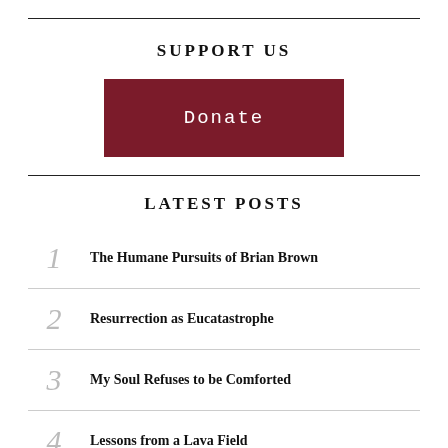SUPPORT US
[Figure (other): Dark red donate button with white monospace text reading 'Donate']
LATEST POSTS
1 The Humane Pursuits of Brian Brown
2 Resurrection as Eucatastrophe
3 My Soul Refuses to be Comforted
4 Lessons from a Lava Field